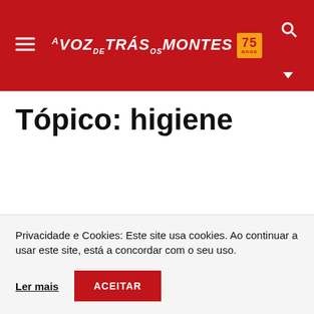A VOZ DE TRÁS-OS-MONTES 75 anos
Tópico: higiene
Privacidade e Cookies: Este site usa cookies. Ao continuar a usar este site, está a concordar com o seu uso.
Ler mais | ACEITAR